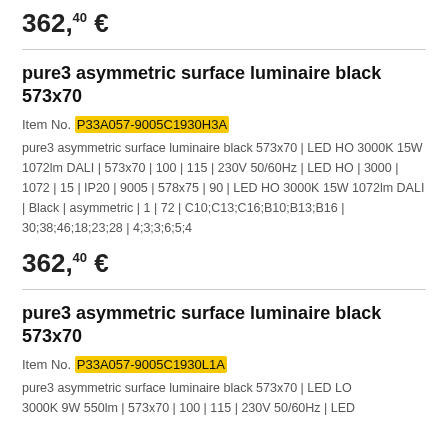362,40 €
pure3 asymmetric surface luminaire black 573x70
Item No. P33A057-9005C1930H3A
pure3 asymmetric surface luminaire black 573x70 | LED HO 3000K 15W 1072lm DALI | 573x70 | 100 | 115 | 230V 50/60Hz | LED HO | 3000 | 1072 | 15 | IP20 | 9005 | 578x75 | 90 | LED HO 3000K 15W 1072lm DALI | Black | asymmetric | 1 | 72 | C10;C13;C16;B10;B13;B16 | 30;38;46;18;23;28 | 4;3;3;6;5;4
362,40 €
pure3 asymmetric surface luminaire black 573x70
Item No. P33A057-9005C1930L1A
pure3 asymmetric surface luminaire black 573x70 | LED LO 3000K 9W 550lm | 573x70 | 100 | 115 | 230V 50/60Hz | LED...